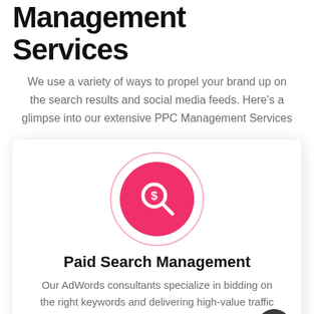Management Services
We use a variety of ways to propel your brand up on the search results and social media feeds. Here’s a glimpse into our extensive PPC Management Services
[Figure (illustration): Pink circle icon with a magnifying glass containing a dollar sign, used to represent Paid Search Management]
Paid Search Management
Our AdWords consultants specialize in bidding on the right keywords and delivering high-value traffic sculpting in Google & Bing Ads while also